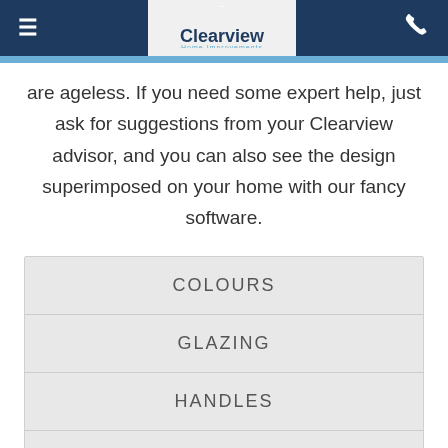Clearview Home Improvements
are ageless. If you need some expert help, just ask for suggestions from your Clearview advisor, and you can also see the design superimposed on your home with our fancy software.
COLOURS
GLAZING
HANDLES
HARDWARE